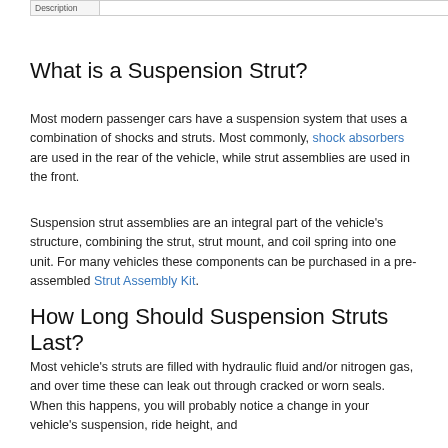| Description |  |
| --- | --- |
|  |  |
What is a Suspension Strut?
Most modern passenger cars have a suspension system that uses a combination of shocks and struts. Most commonly, shock absorbers are used in the rear of the vehicle, while strut assemblies are used in the front.
Suspension strut assemblies are an integral part of the vehicle's structure, combining the strut, strut mount, and coil spring into one unit. For many vehicles these components can be purchased in a pre-assembled Strut Assembly Kit.
How Long Should Suspension Struts Last?
Most vehicle's struts are filled with hydraulic fluid and/or nitrogen gas, and over time these can leak out through cracked or worn seals. When this happens, you will probably notice a change in your vehicle's suspension, ride height, and